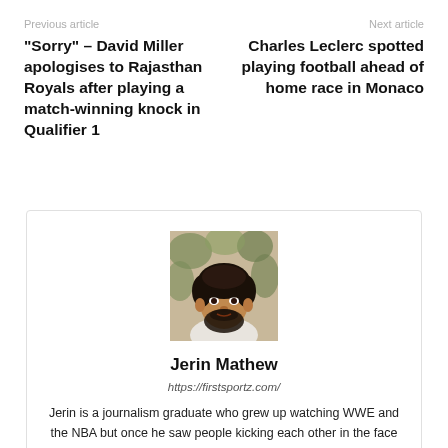Previous article
Next article
“Sorry” – David Miller apologises to Rajasthan Royals after playing a match-winning knock in Qualifier 1
Charles Leclerc spotted playing football ahead of home race in Monaco
[Figure (photo): Headshot photo of Jerin Mathew, a man with dark curly hair and a beard, wearing a white shirt, against a blurred background.]
Jerin Mathew
https://firstsportz.com/
Jerin is a journalism graduate who grew up watching WWE and the NBA but once he saw people kicking each other in the face for a living, he could never go back to another sport. On his off days, he likes to trek mountains